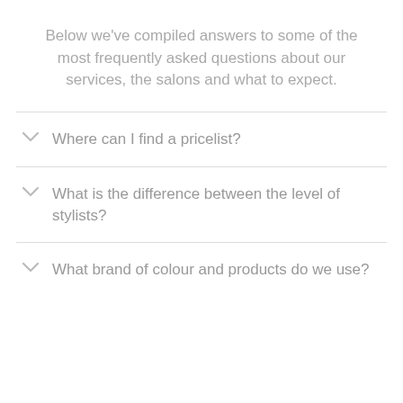Below we've compiled answers to some of the most frequently asked questions about our services, the salons and what to expect.
Where can I find a pricelist?
What is the difference between the level of stylists?
What brand of colour and products do we use?